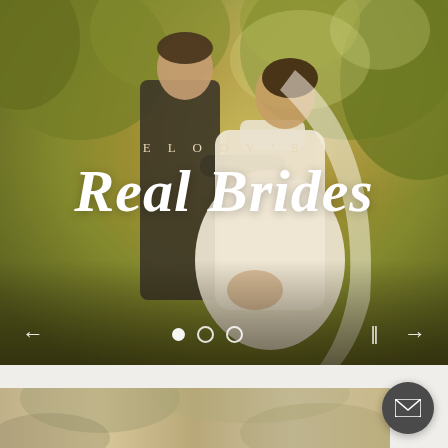[Figure (photo): Wedding photo of a bride in white lace gown with veil and groom in black suit, embracing outdoors surrounded by green trees in golden light. Overlaid with 'ELODY'S Real Brides' text and slideshow navigation controls.]
ELODY'S
Real Brides
[Figure (photo): Partial bottom strip showing a blurred outdoor wedding photo, partially visible at the bottom of the page.]